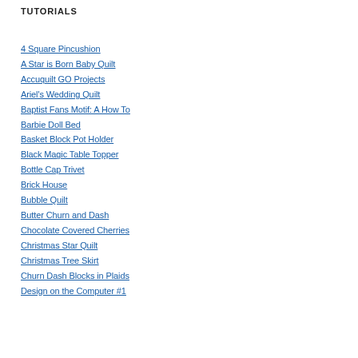TUTORIALS
4 Square Pincushion
A Star is Born Baby Quilt
Accuquilt GO Projects
Ariel's Wedding Quilt
Baptist Fans Motif: A How To
Barbie Doll Bed
Basket Block Pot Holder
Black Magic Table Topper
Bottle Cap Trivet
Brick House
Bubble Quilt
Butter Churn and Dash
Chocolate Covered Cherries
Christmas Star Quilt
Christmas Tree Skirt
Churn Dash Blocks in Plaids
Design on the Computer #1